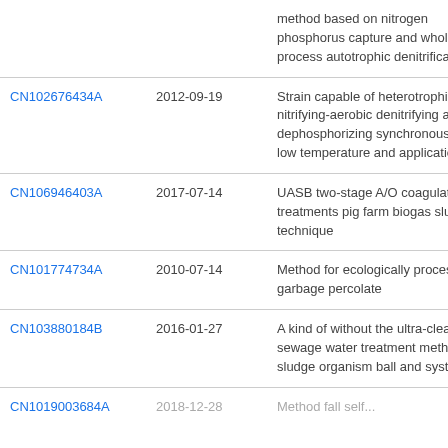| Patent | Date | Title |
| --- | --- | --- |
| (partial) |  | method based on nitrogen phosphorus capture and whole process autotrophic denitrification |
| CN102676434A | 2012-09-19 | Strain capable of heterotrophic nitrifying-aerobic denitrifying and dephosphorizing synchronously at low temperature and application |
| CN106946403A | 2017-07-14 | UASB two-stage A/O coagulating treatments pig farm biogas slurry technique |
| CN101774734A | 2010-07-14 | Method for ecologically processing garbage percolate |
| CN103880184B | 2016-01-27 | A kind of without the ultra-clean sewage water treatment method of sludge organism ball and system |
| CN1019003684A (partial) | 2018-12-28 (partial) | Method fall self... (partial) |